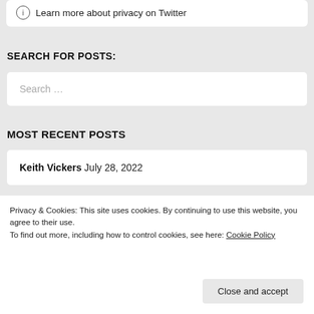Learn more about privacy on Twitter
SEARCH FOR POSTS:
Search …
MOST RECENT POSTS
Keith Vickers July 28, 2022
Privacy & Cookies: This site uses cookies. By continuing to use this website, you agree to their use.
To find out more, including how to control cookies, see here: Cookie Policy
Close and accept